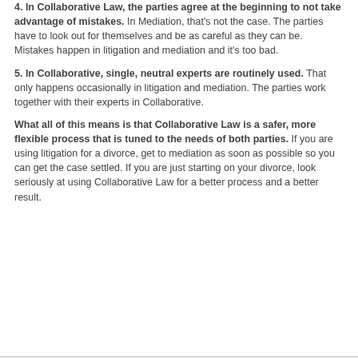4.  In Collaborative Law, the parties agree at the beginning to not take advantage of mistakes.  In Mediation, that's not the case.  The parties have to look out for themselves and be as careful as they can be. Mistakes happen in litigation and mediation and it's too bad.
5.  In Collaborative, single, neutral experts are routinely used.  That only happens occasionally in litigation and mediation. The parties work together with their experts in Collaborative.
What all of this means is that Collaborative Law is a safer, more flexible process that is tuned to the needs of both parties.  If you are using litigation for a divorce, get to mediation as soon as possible so you can get the case settled.  If you are just starting on your divorce, look seriously at using Collaborative Law for a better process and a better result.